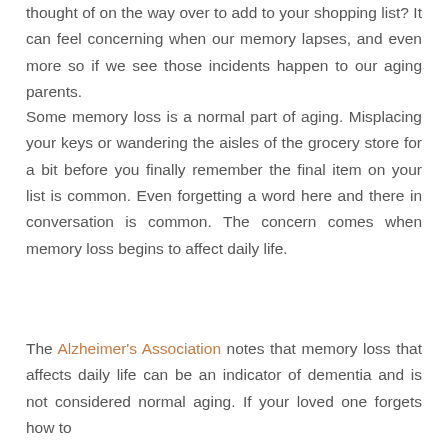thought of on the way over to add to your shopping list? It can feel concerning when our memory lapses, and even more so if we see those incidents happen to our aging parents.
Some memory loss is a normal part of aging. Misplacing your keys or wandering the aisles of the grocery store for a bit before you finally remember the final item on your list is common. Even forgetting a word here and there in conversation is common. The concern comes when memory loss begins to affect daily life.
The Alzheimer's Association notes that memory loss that affects daily life can be an indicator of dementia and is not considered normal aging. If your loved one forgets how to